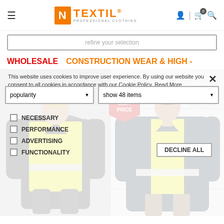[Figure (logo): N TEXTIL Professional Clothing logo with orange N in box and orange TEXTIL text]
refine your selection
WHOLESALE
CONSTRUCTION WEAR & HIGH -
[Figure (screenshot): E-commerce product listing page showing cookie consent overlay with NECESSARY, PERFORMANCE, ADVERTISING, FUNCTIONALITY checkboxes and DECLINE ALL button. Two product images of high-visibility safety vests visible. Sort by popularity and show 48 items dropdowns visible. BEST PRICE badge on second product.]
This website uses cookies to improve user experience. By using our website you consent to all cookies in accordance with our Cookie Policy. Read More
NECESSARY
PERFORMANCE
ADVERTISING
FUNCTIONALITY
DECLINE ALL
popularity
show 48 items
BEST PRICE
ACCEPT